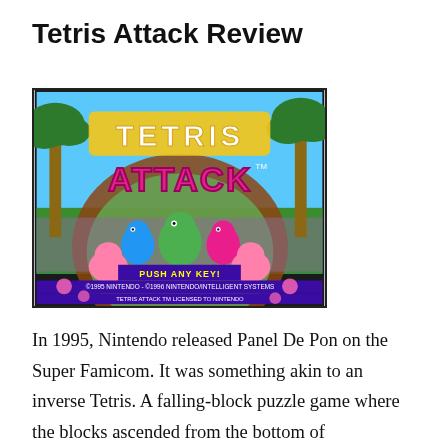Tetris Attack Review
[Figure (screenshot): Tetris Attack SNES game title screen showing Yoshi characters with 'TETRIS ATTACK' logo, 'PUSH ANY KEY!' prompt, and copyright text '©1995 NINTENDO - ©1996 NINTENDO/INTELLIGENT SYSTEMS TETRIS ATTACK TM LICENSED TO NINTENDO BY THE TETRIS COMPANY']
In 1995, Nintendo released Panel De Pon on the Super Famicom. It was something akin to an inverse Tetris. A falling-block puzzle game where the blocks ascended from the bottom of